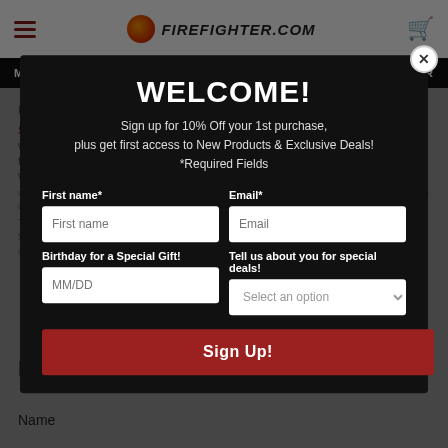FIREFIGHTER.COM
WELCOME!
Sign up for 10% Off your 1st purchase, plus get first access to New Products & Exclusive Deals! *Required Fields
First name* | Email* | Birthday for a Special Gift! | Tell us about you for special deals!
Sign Up!
Leave a comment
Name